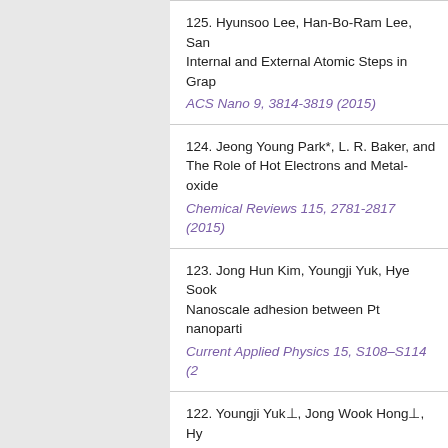125. Hyunsoo Lee, Han-Bo-Ram Lee, San... Internal and External Atomic Steps in Grap... ACS Nano 9, 3814-3819 (2015)
124. Jeong Young Park*, L. R. Baker, and ... The Role of Hot Electrons and Metal-oxide... Chemical Reviews 115, 2781-2817 (2015)
123. Jong Hun Kim, Youngji Yuk, Hye Sook... Nanoscale adhesion between Pt nanoparti... Current Applied Physics 15, S108–S114 (2...
122. Youngji Yuk⊥, Jong Wook Hong⊥, Hy... Shape-dependent adhesion and friction of... Nanotechnology 26, 135707 (2015)
121. Seonju Jeong, Changsoon Cho, Hyur... Nanoimprinting induced nanomorphologies...